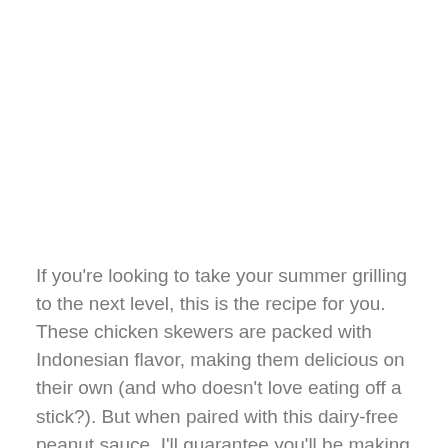If you're looking to take your summer grilling to the next level, this is the recipe for you. These chicken skewers are packed with Indonesian flavor, making them delicious on their own (and who doesn't love eating off a stick?). But when paired with this dairy-free peanut sauce, I'll guarantee you'll be making these more than once this summer.